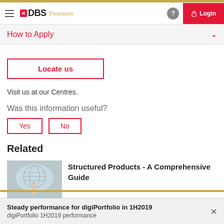DBS Treasures — Login
How to Apply
Locate us
Visit us at our Centres.
Was this information useful?
Yes  No
Related
[Figure (photo): Hand pointing at a digital world map / network]
Structured Products - A Comprehensive Guide
Steady performance for digiPortfolio in 1H2019
digiPortfolio 1H2019 performance